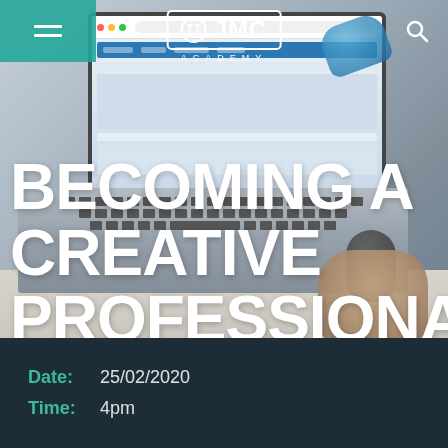[Figure (photo): Background photo of a person working at a laptop on a desk, with a blue mouse and notebook visible. JMC Academy logo in white with a border at the top center, hamburger menu icon on teal background at top left, and search icon at top right.]
BECOMING A CREATIVE PROFESSIONAL MASTERCLASS
Date: 25/02/2020
Time: 4pm